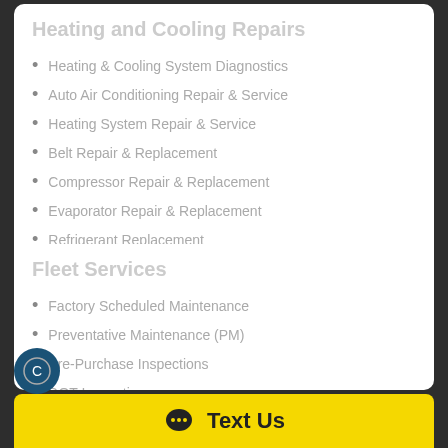Heating and Cooling Repairs
Heating & Cooling System Diagnostics
Auto Air Conditioning Repair & Service
Heating System Repair & Service
Belt Repair & Replacement
Compressor Repair & Replacement
Evaporator Repair & Replacement
Refrigerant Replacement
Fleet Services
Factory Scheduled Maintenance
Preventative Maintenance (PM)
Pre-Purchase Inspections
DOT Inspections
State Inspections
Text Us